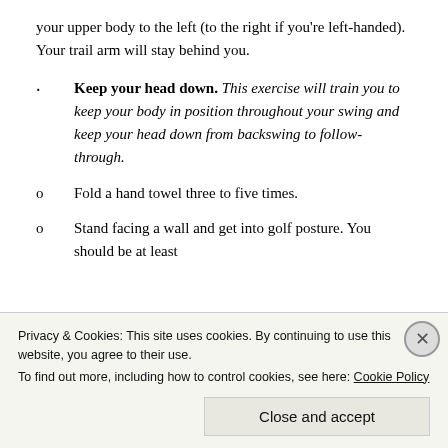your upper body to the left (to the right if you're left-handed). Your trail arm will stay behind you.
Keep your head down. This exercise will train you to keep your body in position throughout your swing and keep your head down from backswing to follow-through.
Fold a hand towel three to five times.
Stand facing a wall and get into golf posture. You should be at least
Privacy & Cookies: This site uses cookies. By continuing to use this website, you agree to their use.
To find out more, including how to control cookies, see here: Cookie Policy
Close and accept